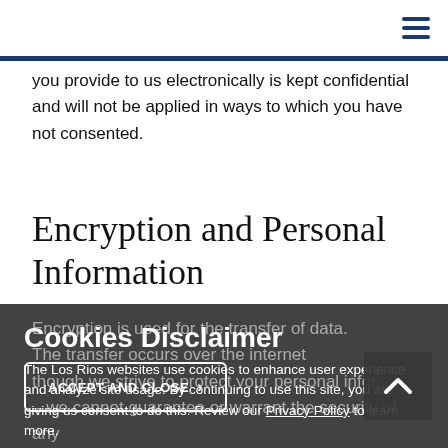☰
you provide to us electronically is kept confidential and will not be applied in ways to which you have not consented.
Encryption and Personal Information
Encryption is used for the transfer of data. The transfer occurs over the internet though we strive to protect your personal information – we cannot guarantee or warrant the security of any information you transmit to or from our website. We will not disclose any information that identifies you to a third party.
Cookies Disclaimer
The Los Rios websites use cookies to enhance user experience and analyze site usage. By continuing to use this site, you are giving us consent to do this. Review our Privacy Policy to learn more.
ACCEPT AND CLOSE ›